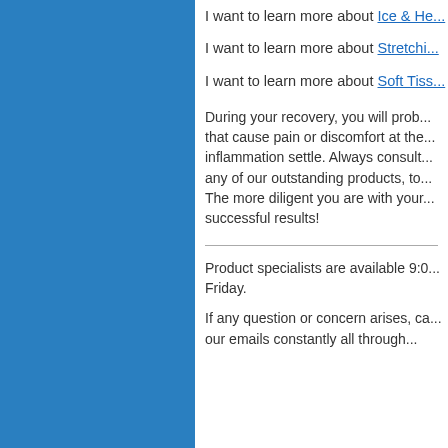I want to learn more about Ice & He...
I want to learn more about Stretchi...
I want to learn more about Soft Tiss...
During your recovery, you will prob... that cause pain or discomfort at the... inflammation settle. Always consult... any of our outstanding products, to... The more diligent you are with your... successful results!
Product specialists are available 9:0... Friday.
If any question or concern arises, ca... our emails constantly all through...